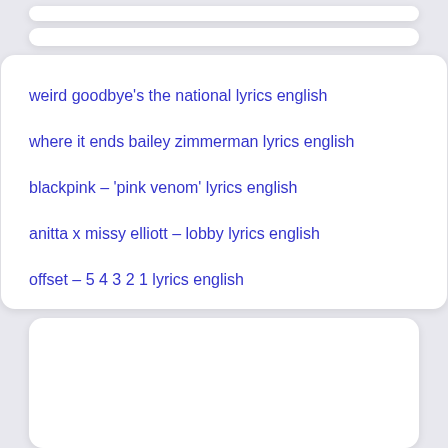weird goodbye's the national lyrics english
where it ends bailey zimmerman lyrics english
blackpink – 'pink venom' lyrics english
anitta x missy elliott – lobby lyrics english
offset – 5 4 3 2 1 lyrics english